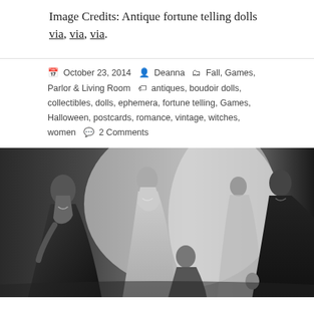Image Credits: Antique fortune telling dolls via, via, via.
October 23, 2014  Deanna  Fall, Games, Parlor & Living Room  antiques, boudoir dolls, collectibles, dolls, ephemera, fortune telling, Games, Halloween, postcards, romance, vintage, witches, women  2 Comments
[Figure (photo): Black and white photograph showing several women in formal gowns, some standing and one seated, appearing to be at a fashion event or fitting.]